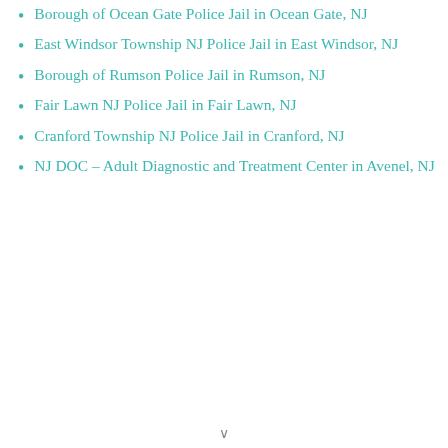Borough of Ocean Gate Police Jail in Ocean Gate, NJ
East Windsor Township NJ Police Jail in East Windsor, NJ
Borough of Rumson Police Jail in Rumson, NJ
Fair Lawn NJ Police Jail in Fair Lawn, NJ
Cranford Township NJ Police Jail in Cranford, NJ
NJ DOC – Adult Diagnostic and Treatment Center in Avenel, NJ